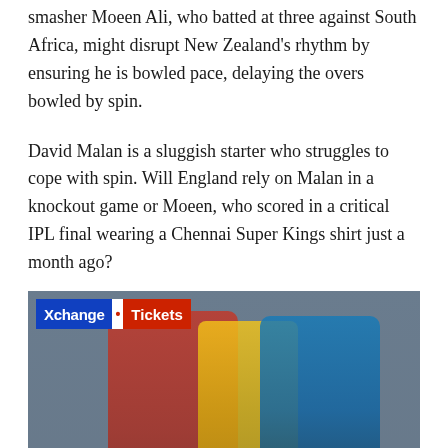smasher Moeen Ali, who batted at three against South Africa, might disrupt New Zealand's rhythm by ensuring he is bowled pace, delaying the overs bowled by spin.
David Malan is a sluggish starter who struggles to cope with spin. Will England rely on Malan in a knockout game or Moeen, who scored in a critical IPL final wearing a Chennai Super Kings shirt just a month ago?
[Figure (photo): England cricket players after a match loss, with an Xchange Tickets advertisement overlay in the top-left corner. Players wearing red, yellow, and blue England cricket kit with 'cinch' sponsor logo visible.]